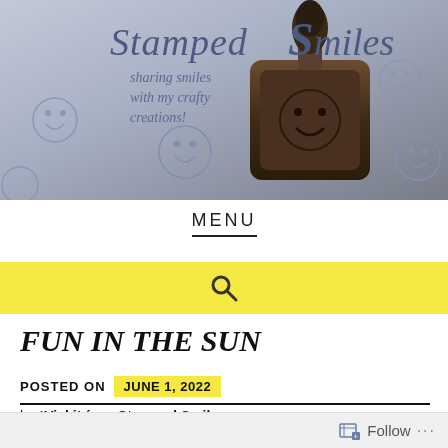[Figure (photo): Stamped Smiles blog banner showing a rubber stamp with a smiley face and multiple stamped smiley face impressions on paper. Text reads 'Stamped Smiles - sharing smiles with my crafty creations!']
MENU
[Figure (other): Yellow search bar with magnifying glass icon]
FUN IN THE SUN
POSTED ON JUNE 1, 2022
by *Vicki* from Stamped Smiles